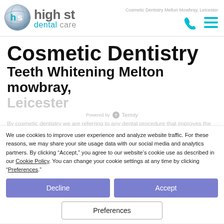Cosmetic Dentistry Melton Mowbray, Leicester
[Figure (logo): High St Dental Care logo with circular globe icon]
Cosmetic Dentistry
Teeth Whitening Melton mowbray, Leicester
Powered by Termly
We use cookies to improve user experience and analyze website traffic. For these reasons, we may share your site usage data with our social media and analytics partners. By clicking “Accept,” you agree to our website’s cookie use as described in our Cookie Policy. You can change your cookie settings at any time by clicking “Preferences.”
By cosmetic dentistry we are referring to any dental procedure that improves the appearance of your gums or teeth. We have the expertise and facilities to provide our patients with a wide range of cosmetic dental treatments. Whether you’ve always dreamed of having whiter teeth, interested in teeth whitening or you want a less crooked